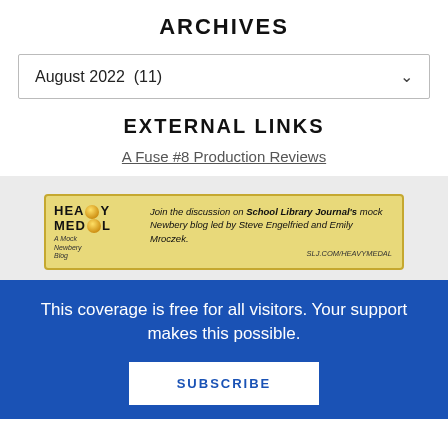ARCHIVES
August 2022  (11)
EXTERNAL LINKS
A Fuse #8 Production Reviews
[Figure (illustration): Heavy Medal mock Newbery blog banner - yellow background with Heavy Medal logo and text: Join the discussion on School Library Journal's mock Newbery blog led by Steve Engelfried and Emily Mroczek. SLJ.COM/HEAVYMEDAL]
This coverage is free for all visitors. Your support makes this possible.
SUBSCRIBE